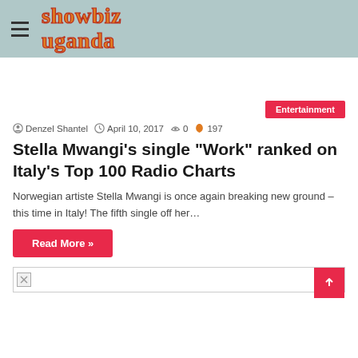showbiz uganda
Entertainment
Denzel Shantel  April 10, 2017  0  197
Stella Mwangi’s single “Work” ranked on Italy’s Top 100 Radio Charts
Norwegian artiste Stella Mwangi is once again breaking new ground – this time in Italy! The fifth single off her…
Read More »
[Figure (photo): Broken image placeholder at bottom of page]